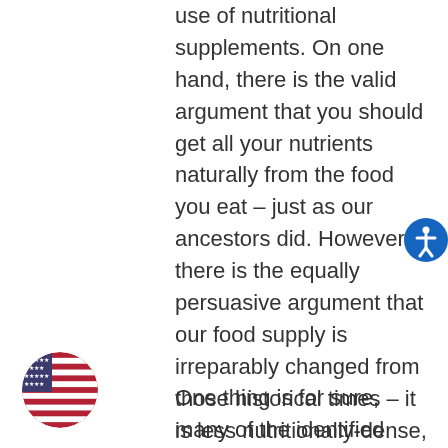use of nutritional supplements. On one hand, there is the valid argument that you should get all your nutrients naturally from the food you eat – just as our ancestors did. However, there is the equally persuasive argument that our food supply is irreparably changed from those historical times – it is less nutritionally-dense, tainted by GMOs, antibiotics, and overly processed – and therefore supplements are a way of compensating for the lost nutritional value in our food.
One thing is for sure, many of the identified regions in the Blue Zones